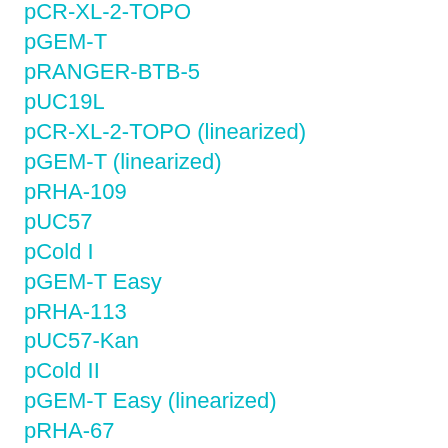pCR-XL-2-TOPO
pGEM-T
pRANGER-BTB-5
pUC19L
pCR-XL-2-TOPO (linearized)
pGEM-T (linearized)
pRHA-109
pUC57
pCold I
pGEM-T Easy
pRHA-113
pUC57-Kan
pCold II
pGEM-T Easy (linearized)
pRHA-67
pUC57-Simple
p[blocked] I
p[blocked]
pRST-1